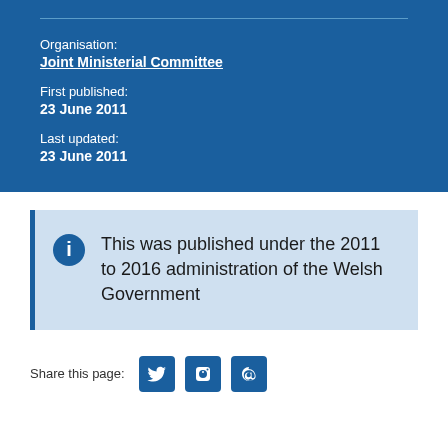Organisation:
Joint Ministerial Committee
First published:
23 June 2011
Last updated:
23 June 2011
This was published under the 2011 to 2016 administration of the Welsh Government
Share this page: